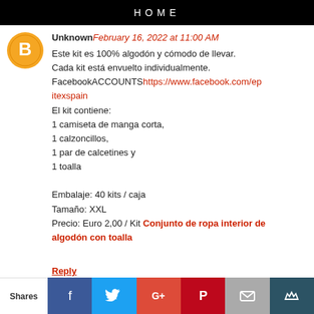HOME
Unknown February 16, 2022 at 11:00 AM
Este kit es 100% algodón y cómodo de llevar.
Cada kit está envuelto individualmente.
FacebookACCOUNTShttps://www.facebook.com/epitexspain
El kit contiene:
1 camiseta de manga corta,
1 calzoncillos,
1 par de calcetines y
1 toalla

Embalaje: 40 kits / caja
Tamaño: XXL
Precio: Euro 2,00 / Kit Conjunto de ropa interior de algodón con toalla
Reply
Enter Comment
Shares | Facebook | Twitter | Google+ | Pinterest | Email | Crown